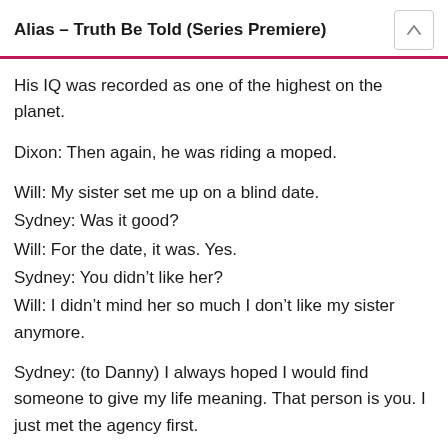Alias – Truth Be Told (Series Premiere)
His IQ was recorded as one of the highest on the planet.
Dixon: Then again, he was riding a moped.
Will: My sister set me up on a blind date.
Sydney: Was it good?
Will: For the date, it was. Yes.
Sydney: You didn't like her?
Will: I didn't mind her so much I don't like my sister anymore.
Sydney: (to Danny) I always hoped I would find someone to give my life meaning. That person is you. I just met the agency first.